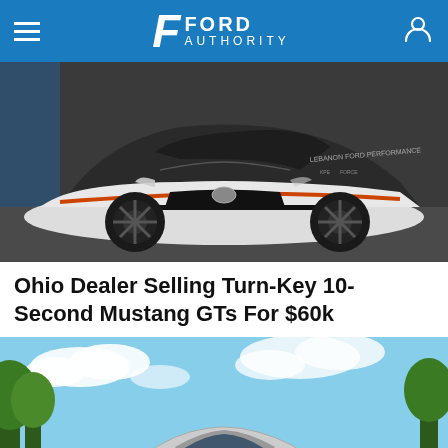Ford Authority
[Figure (photo): Front three-quarter view of a modified Ford Mustang GT race car with white and dark gray paint, orange stripe accents, black wheels, and sponsor decals including 'Lebanon Ford Performance']
Ohio Dealer Selling Turn-Key 10-Second Mustang GTs For $60k
[Figure (photo): Silver Ford Mustang GT driving on a highway road with trees and blue sky in background]
An Ohio Dealer Is Offering A 550-HP Ford Mustang